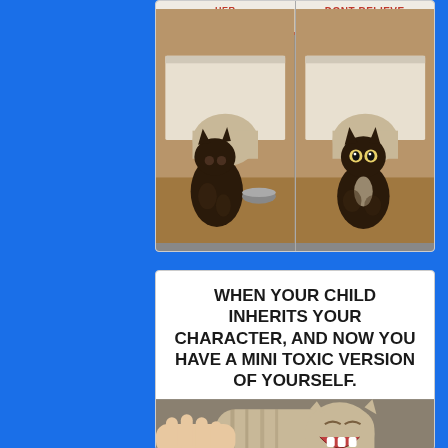[Figure (photo): Two side-by-side photos of a tortoiseshell cat sitting under a white cat tree/house structure. Each photo has a sign with a red border above the cat. Left sign reads 'HER BULLSHIT'. Right sign reads 'DONT BELIEVE HER BULLSHIT'. Left photo shows cat looking away; right photo shows cat looking at camera with wide eyes.]
[Figure (photo): Meme card with bold black text reading 'WHEN YOUR CHILD INHERITS YOUR CHARACTER, AND NOW YOU HAVE A MINI TOXIC VERSION OF YOURSELF.' followed by a photo of a laughing/hissing cat being touched by a hand.]